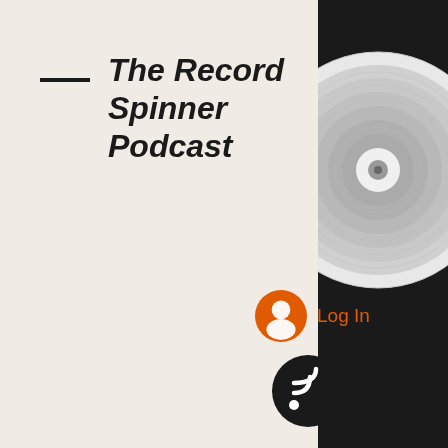The Record Spinner Podcast
Log In
steroids in canada. When you use diet and exercise, you lose muscle mass. That's why it is crucial that you give weight control the highest priority: It will help you lose the weight that you do already have. So when you first start to follow a diet and exercise program, you will likely lose weight slowly over a period of several months or years, best mass building routine while on steroids. When you lose your original weight, it will take many months before you are able to